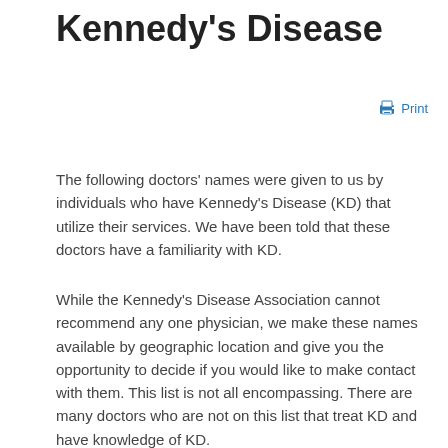Kennedy's Disease
Print
The following doctors' names were given to us by individuals who have Kennedy's Disease (KD) that utilize their services. We have been told that these doctors have a familiarity with KD.
While the Kennedy's Disease Association cannot recommend any one physician, we make these names available by geographic location and give you the opportunity to decide if you would like to make contact with them. This list is not all encompassing. There are many doctors who are not on this list that treat KD and have knowledge of KD.